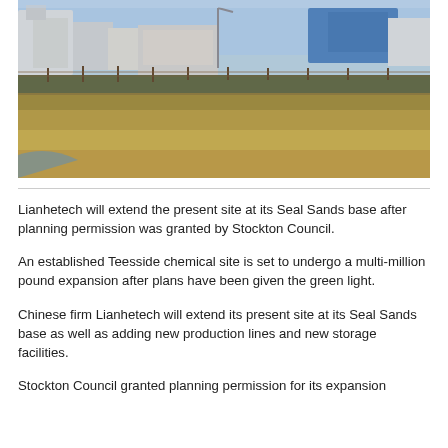[Figure (photo): Photograph of an industrial chemical site with buildings visible in the background behind a fence and overgrown vegetation in the foreground. Sky is blue. Buildings include white and blue structures typical of a chemical facility.]
Lianhetech will extend the present site at its Seal Sands base after planning permission was granted by Stockton Council.
An established Teesside chemical site is set to undergo a multi-million pound expansion after plans have been given the green light.
Chinese firm Lianhetech will extend its present site at its Seal Sands base as well as adding new production lines and new storage facilities.
Stockton Council granted planning permission for its expansion